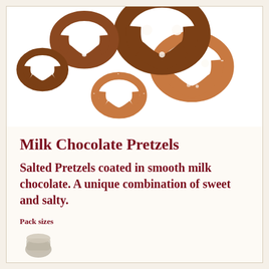[Figure (photo): Photo of milk chocolate covered pretzels and plain salted pretzels arranged on a white background. Multiple pretzels of different sizes visible, some fully coated in milk chocolate, some plain golden salted pretzels.]
Milk Chocolate Pretzels
Salted Pretzels coated in smooth milk chocolate. A unique combination of sweet and salty.
Pack sizes
[Figure (photo): Partial image of a product bag at the bottom of the page, mostly cut off.]